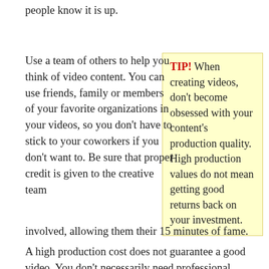people know it is up.
Use a team of others to help you think of video content. You can use friends, family or members of your favorite organizations in your videos, so you don't have to stick to your coworkers if you don't want to. Be sure that proper credit is given to the creative team involved, allowing them their 15 minutes of fame.
TIP! When creating videos, don't become obsessed with your content's production quality. High production values do not mean getting good returns back on your investment.
A high production cost does not guarantee a good video. You don't necessarily need professional equipment; just make sure the picture is focused and balanced. You don't even need the best script or a lot of confidence. Speak directly to the camera and be